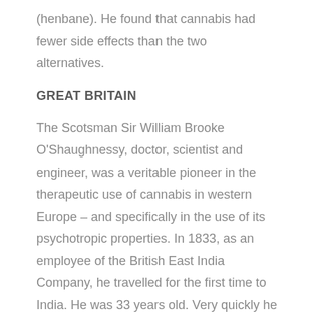(henbane). He found that cannabis had fewer side effects than the two alternatives.
GREAT BRITAIN
The Scotsman Sir William Brooke O'Shaughnessy, doctor, scientist and engineer, was a veritable pioneer in the therapeutic use of cannabis in western Europe – and specifically in the use of its psychotropic properties. In 1833, as an employee of the British East India Company, he travelled for the first time to India. He was 33 years old. Very quickly he became interested in the therapeutic